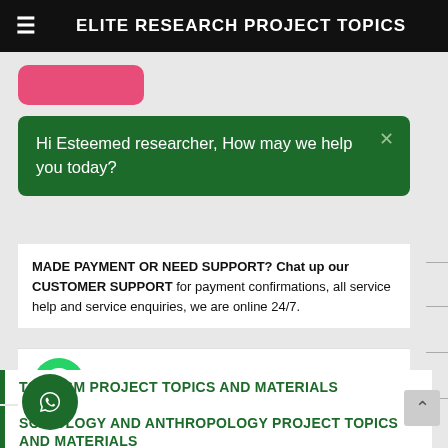ELITE RESEARCH PROJECT TOPICS
Hi Esteemed researcher, How may we help you today?
MADE PAYMENT OR NEED SUPPORT? Chat up our CUSTOMER SUPPORT for payment confirmations, all service help and service enquiries, we are online 24/7.
Elite project customer care
Miracle
TOURISM PROJECT TOPICS AND MATERIALS
SOCIOLOGY AND ANTHROPOLOGY PROJECT TOPICS AND MATERIALS